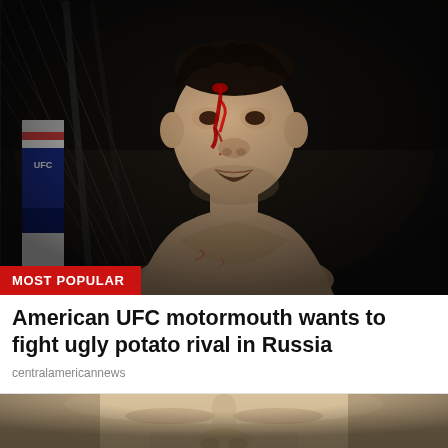[Figure (photo): MMA fighter (Henry Cejudo) with blood on his face, standing in front of an octagon cage with dark background. A UFC banner/pole is visible on the left side.]
MOST POPULAR
American UFC motormouth wants to fight ugly potato rival in Russia
centralamericannews
[Figure (photo): Close-up of a man's face from nose-level, showing forehead, nose, and upper lip area with short stubble.]